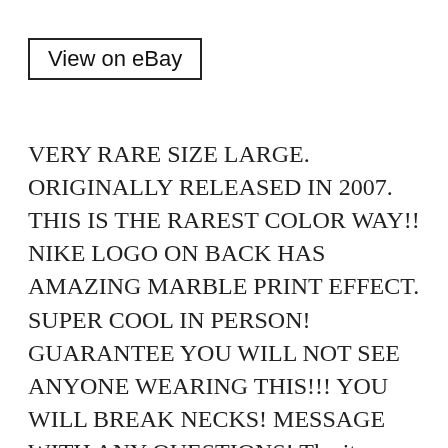View on eBay
VERY RARE SIZE LARGE. ORIGINALLY RELEASED IN 2007. THIS IS THE RAREST COLOR WAY!! NIKE LOGO ON BACK HAS AMAZING MARBLE PRINT EFFECT. SUPER COOL IN PERSON! GUARANTEE YOU WILL NOT SEE ANYONE WEARING THIS!!! YOU WILL BREAK NECKS! MESSAGE WITH ANY QUESTIONS! The item “Supreme x Nike SB Varsity Jacket 2007 Release Blue/yellow Very Rare Size Large” is in sale since Tuesday, July 16, 2019. This item is in the category “Clothing, Shoes & Accessories\Men\Men’s Clothing\Coats &